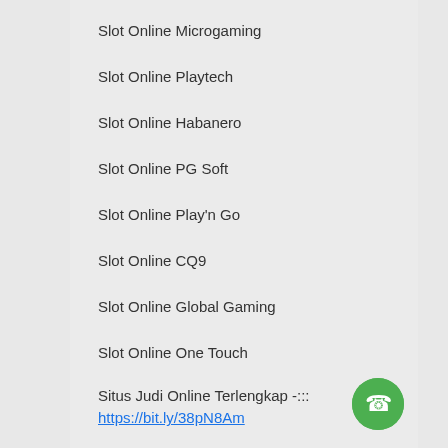Slot Online Microgaming
Slot Online Playtech
Slot Online Habanero
Slot Online PG Soft
Slot Online Play'n Go
Slot Online CQ9
Slot Online Global Gaming
Slot Online One Touch
Situs Judi Online Terlengkap -:::
https://bit.ly/38pN8Am
[Figure (illustration): Green circular phone/call button icon in bottom right corner]